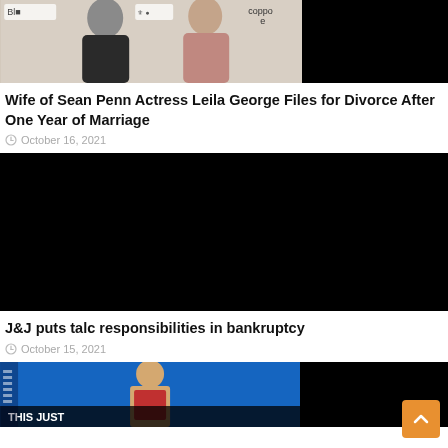[Figure (photo): Two people posing at an event — a man in a dark jacket on the left and a woman in a pink turtleneck on the right, with a black rectangle on the far right. A logo with 'coppo' text visible in background.]
Wife of Sean Penn Actress Leila George Files for Divorce After One Year of Marriage
October 16, 2021
[Figure (photo): Large black rectangle (image failed to load or black background).]
J&J puts talc responsibilities in bankruptcy
October 15, 2021
[Figure (photo): Basketball image showing a player (Ben Simmons era Philadelphia 76ers), with a blue and black graphic overlay and text 'THIS JUST' visible at the bottom left.]